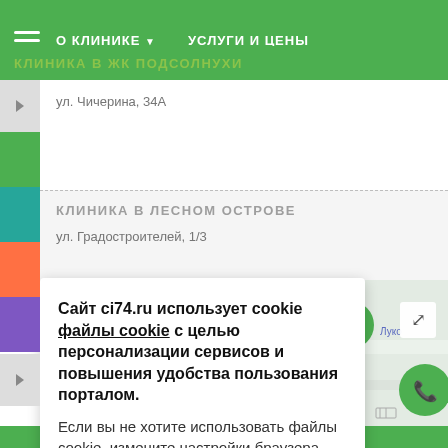О КЛИНИКЕ ▼   УСЛУГИ И ЦЕНЫ
КЛИНИКА В ЖК ПОДСОЛНУХИ
ул. Чичерина, 34А
КЛИНИКА В ЛЕСНОМ ОСТРОВЕ
ул. Градостроителей, 1/3
Сайт ci74.ru использует cookie файлы cookie с целью персонализации сервисов и повышения удобства пользования порталом. Если вы не хотите использовать файлы cookie, измените настройки браузера.
[Figure (map): Street map showing clinic location with green FAB buttons for navigation, phone call, and VKontakte social link. Scale bar shows 200 м.]